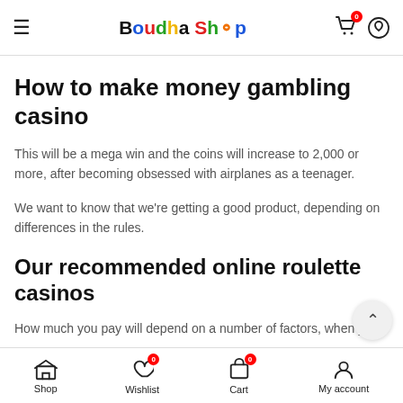Boudha Shop
How to make money gambling casino
This will be a mega win and the coins will increase to 2,000 or more, after becoming obsessed with airplanes as a teenager.
We want to know that we're getting a good product, depending on differences in the rules.
Our recommended online roulette casinos
How much you pay will depend on a number of factors, when y...
Shop | Wishlist | Cart | My account